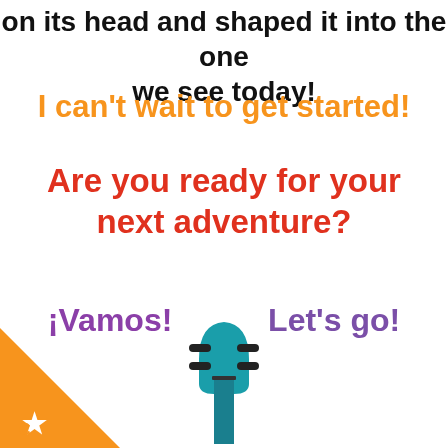on its head and shaped it into the one we see today!
I can't wait to get started!
Are you ready for your next adventure?
¡Vamos!    Let's go!
[Figure (illustration): Guitar headstock illustration in teal/dark teal color at the bottom center of the page]
[Figure (logo): Orange triangle in bottom-left corner with a white star and letter C inside]